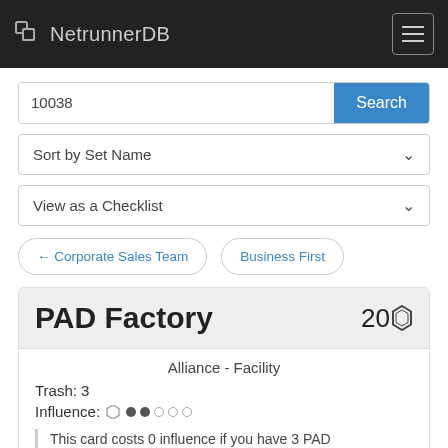NetrunnerDB
10038
Sort by Set Name
View as a Checklist
← Corporate Sales Team
Business First
PAD Factory
Alliance - Facility
Trash: 3
Influence: ⬡ ●●○○○
This card costs 0 influence if you have 3 PAD Campaigns in your deck.